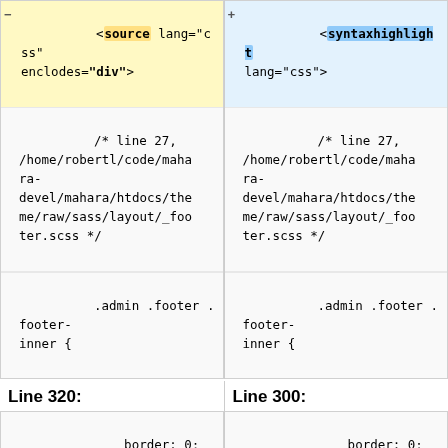[Figure (screenshot): Two-column diff view showing code comparison between <source lang="css" enclodes="div"> and <syntaxhighlight lang="css">, with code blocks showing CSS comment and .admin .footer .footer-inner { rule, then Line 320 vs Line 300 headers, followed by border: 0; and border-radius: 0; } code blocks, then </source> vs </syntaxhighlight> closing tags, and '''14.''' Go to the site in your browser. text at bottom.]